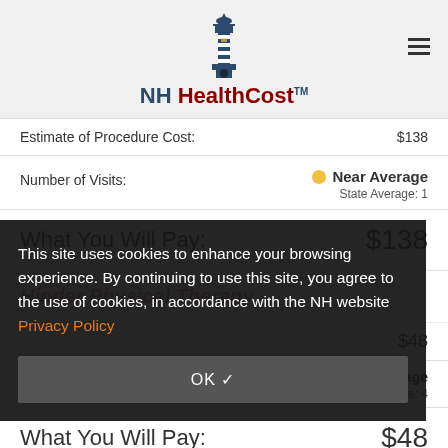NH HealthCost
Estimate of Procedure Cost: $138
Number of Visits: Near Average
State Average: 1
What You Will Pay: $138
This site uses cookies to enhance your browsing experience. By continuing to use this site, you agree to the use of cookies, in accordance with the NH website Privacy Policy
OK ✓
$48
Near Average
State Average: 4
What You Will Pay: $48